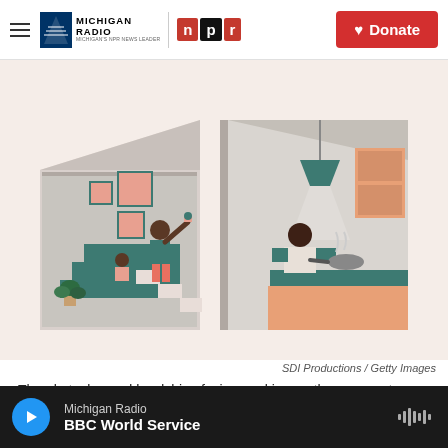Michigan Radio | NPR | Donate
[Figure (illustration): Illustration of a house cross-section showing two scenes: on the left, a parent and child playing on stairs with wall art and a plant; on the right, a person cooking in a kitchen with hanging lamp. Peach, teal, and gray color palette.]
SDI Productions / Getty Images
The obstacles and hardships facing working mothers are not new, but the pandemic has given them more visibility.
Michigan Radio — BBC World Service